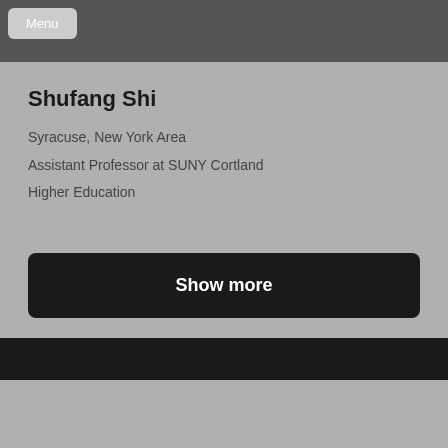[Figure (screenshot): Cover photo area - dark gray banner at top of LinkedIn-style profile card]
Menu
Shufang Shi
Syracuse, New York Area
Assistant Professor at SUNY Cortland
Higher Education
Show more